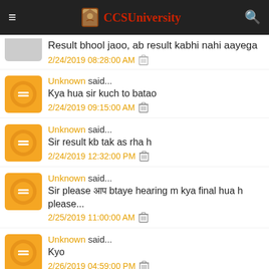CCSUniversity
Result bhool jaoo, ab result kabhi nahi aayega
2/24/2019 08:28:00 AM
Unknown said... Kya hua sir kuch to batao
2/24/2019 09:15:00 AM
Unknown said... Sir result kb tak as rha h
2/24/2019 12:32:00 PM
Unknown said... Sir please आप btaye hearing m kya final hua h please...
2/25/2019 11:00:00 AM
Unknown said... Kyo
2/26/2019 04:59:00 PM
Unknown said... Please kuch to batao
2/26/2019 09:10:00 PM